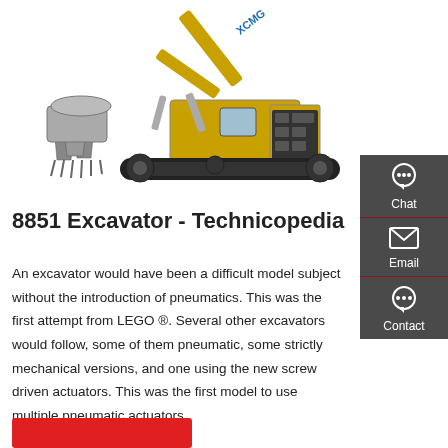[Figure (photo): Yellow XCMG excavator with large bucket attachment, on white background]
8851 Excavator - Technicopedia
An excavator would have been a difficult model subject without the introduction of pneumatics. This was the first attempt from LEGO ®. Several other excavators would follow, some of them pneumatic, some strictly mechanical versions, and one using the new screw driven actuators. This was the first model to use multiple pneumatic actuators.